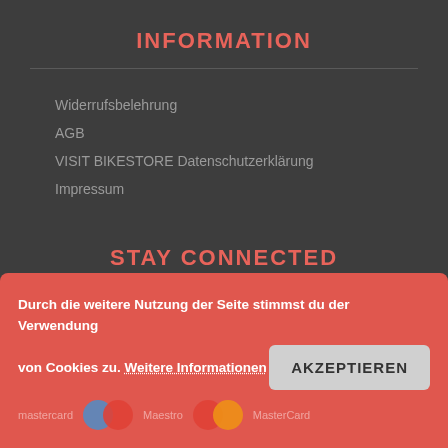INFORMATION
Widerrufsbelehrung
AGB
VISIT BIKESTORE Datenschutzerklärung
Impressum
STAY CONNECTED
[Figure (illustration): Facebook and Instagram social media icons in square bordered boxes]
Durch die weitere Nutzung der Seite stimmst du der Verwendung von Cookies zu. Weitere Informationen
AKZEPTIEREN